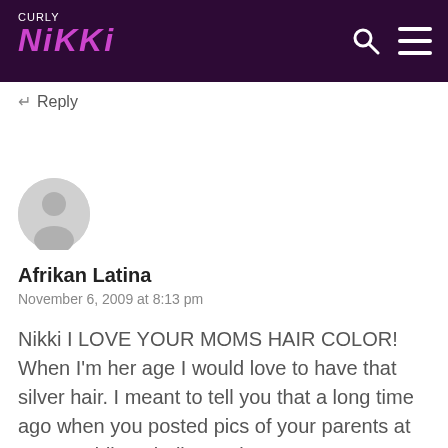CURLY NIKKI
Reply
[Figure (illustration): Default user avatar — grey circle with a person silhouette]
Afrikan Latina
November 6, 2009 at 8:13 pm
Nikki I LOVE YOUR MOMS HAIR COLOR! When I'm her age I would love to have that silver hair. I meant to tell you that a long time ago when you posted pics of your parents at your wedding I believe. I love Love